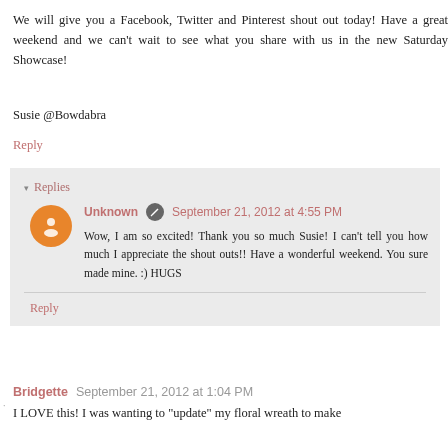We will give you a Facebook, Twitter and Pinterest shout out today! Have a great weekend and we can't wait to see what you share with us in the new Saturday Showcase!
Susie @Bowdabra
Reply
Replies
Unknown  September 21, 2012 at 4:55 PM
Wow, I am so excited! Thank you so much Susie! I can't tell you how much I appreciate the shout outs!! Have a wonderful weekend. You sure made mine. :) HUGS
Reply
Bridgette  September 21, 2012 at 1:04 PM
I LOVE this! I was wanting to "update" my floral wreath to make